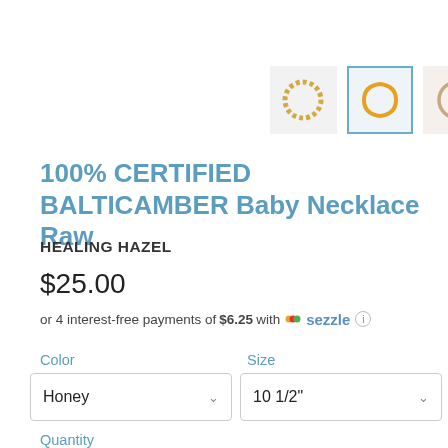[Figure (photo): Three thumbnail images of amber baby necklaces — left: twisted chain style, center: simple loop (selected, highlighted with blue border), right: single loop]
100% CERTIFIED BALTICAMBER Baby Necklace Raw
HEALING HAZEL
$25.00
or 4 interest-free payments of $6.25 with Sezzle ⓘ
Color
Size
Honey
10 1/2"
Quantity
1
ADD TO CART